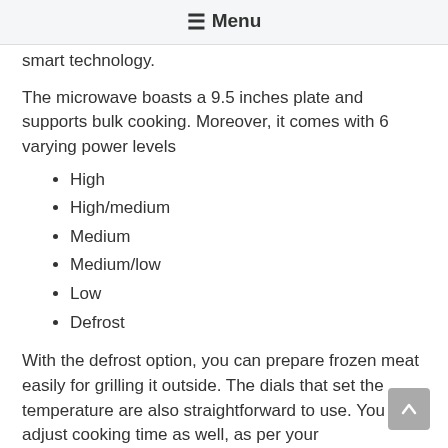≡ Menu
smart technology.
The microwave boasts a 9.5 inches plate and supports bulk cooking. Moreover, it comes with 6 varying power levels
High
High/medium
Medium
Medium/low
Low
Defrost
With the defrost option, you can prepare frozen meat easily for grilling it outside. The dials that set the temperature are also straightforward to use. You can adjust cooking time as well, as per your requirements. Apart from the functionality,